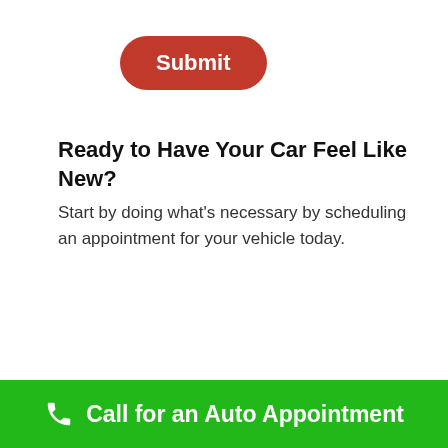[Figure (other): Red rounded Submit button]
Ready to Have Your Car Feel Like New?
Start by doing what's necessary by scheduling an appointment for your vehicle today.
[Figure (other): Red rounded Schedule an Appointment button]
(609)625-3286
Contact Us
Call for an Auto Appointment